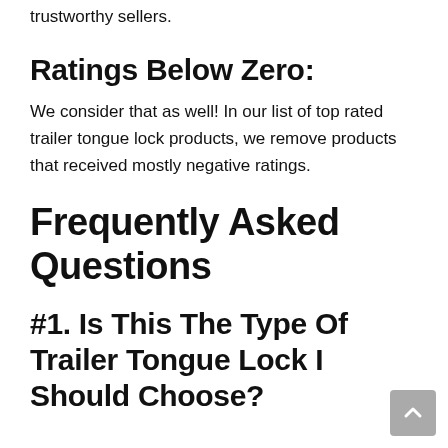trustworthy sellers.
Ratings Below Zero:
We consider that as well! In our list of top rated trailer tongue lock products, we remove products that received mostly negative ratings.
Frequently Asked Questions
#1. Is This The Type Of Trailer Tongue Lock I Should Choose?